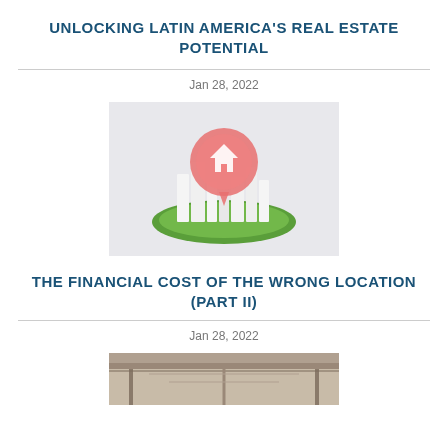UNLOCKING LATIN AMERICA'S REAL ESTATE POTENTIAL
Jan 28, 2022
[Figure (illustration): 3D render of white skyscraper buildings on a green circular base with a large red location pin balloon containing a house icon, on a light grey background.]
THE FINANCIAL COST OF THE WRONG LOCATION (PART II)
Jan 28, 2022
[Figure (photo): Interior architectural photo showing ceiling and structural elements of a building.]